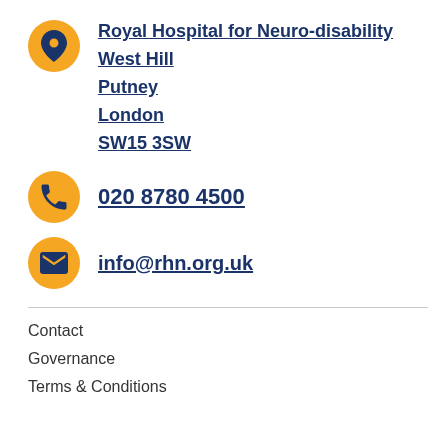Royal Hospital for Neuro-disability
West Hill
Putney
London
SW15 3SW
020 8780 4500
info@rhn.org.uk
Contact
Governance
Terms & Conditions